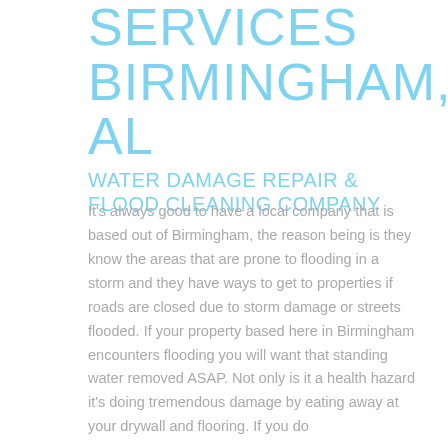SERVICES BIRMINGHAM, AL WATER DAMAGE REPAIR & FLOOD CLEANING COMPANY
It's always good to have a local company that is based out of Birmingham, the reason being is they know the areas that are prone to flooding in a storm and they have ways to get to properties if roads are closed due to storm damage or streets flooded. If your property based here in Birmingham encounters flooding you will want that standing water removed ASAP. Not only is it a health hazard it's doing tremendous damage by eating away at your drywall and flooring. If you do